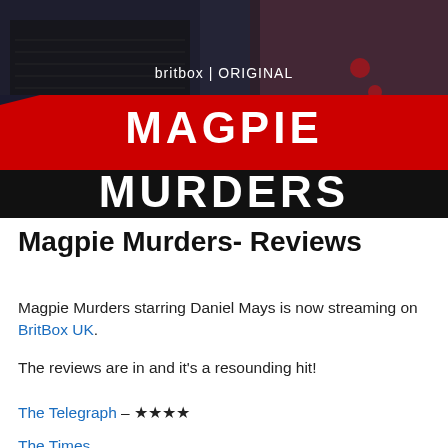[Figure (photo): BritBox Original promotional image for Magpie Murders TV show. Dark atmospheric background showing a person in dark clothing. Large red banner with white text 'MAGPIE MURDERS' and text above reading 'britbox | ORIGINAL']
Magpie Murders- Reviews
Magpie Murders starring Daniel Mays is now streaming on BritBox UK.
The reviews are in and it's a resounding hit!
The Telegraph – ★★★★
The Times